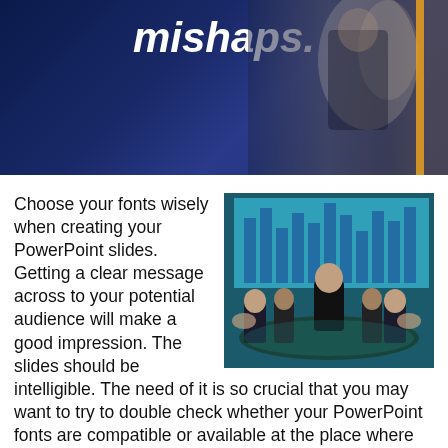[Figure (photo): Dark blue background header with italic bold white text reading 'mishaps.' with a photo overlay of a person and golden vertical accent bar on the right]
[Figure (photo): Business meeting photo: a man in a suit presenting to clapping colleagues around a table, with a bar chart projected in the background, teal/blue tones]
Choose your fonts wisely when creating your PowerPoint slides. Getting a clear message across to your potential audience will make a good impression. The slides should be intelligible. The need of it is so crucial that you may want to try to double check whether your PowerPoint fonts are compatible or available at the place where you will hold your presentation. Fonts used will also affect how the message will be perceived.  Why is there a